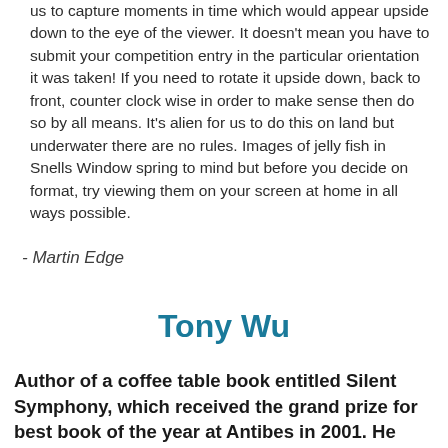us to capture moments in time which would appear upside down to the eye of the viewer. It doesn't mean you have to submit your competition entry in the particular orientation it was taken!  If you need to rotate it upside down, back to front, counter clock wise in order to make sense then do so by all means. It's alien for us to do this on land but underwater there are no rules. Images of jelly fish in Snells Window spring to mind but before you decide on format, try viewing them on your screen at home in all ways possible.
- Martin Edge
Tony Wu
Author of a coffee table book entitled Silent Symphony, which received the grand prize for best book of the year at Antibes in 2001. He